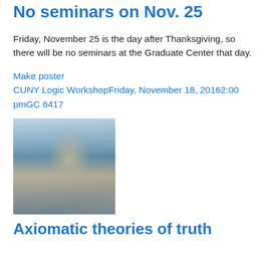No seminars on Nov. 25
Friday, November 25 is the day after Thanksgiving, so there will be no seminars at the Graduate Center that day.
Make poster
CUNY Logic WorkshopFriday, November 18, 20162:00 pmGC 6417
[Figure (photo): Photo of a man in a black jacket looking sideways, with a cityscape and cloudy sky in the background.]
Axiomatic theories of truth